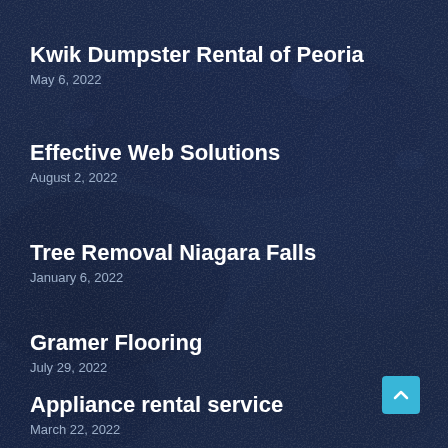Kwik Dumpster Rental of Peoria
May 6, 2022
Effective Web Solutions
August 2, 2022
Tree Removal Niagara Falls
January 6, 2022
Gramer Flooring
July 29, 2022
Appliance rental service
March 22, 2022